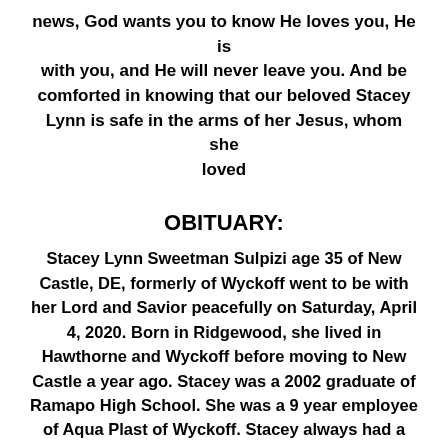news, God wants you to know He loves you, He is with you, and He will never leave you. And be comforted in knowing that our beloved Stacey Lynn is safe in the arms of her Jesus, whom she loved
OBITUARY:
Stacey Lynn Sweetman Sulpizi age 35 of New Castle, DE, formerly of Wyckoff went to be with her Lord and Savior peacefully on Saturday, April 4, 2020. Born in Ridgewood, she lived in Hawthorne and Wyckoff before moving to New Castle a year ago. Stacey was a 2002 graduate of Ramapo High School. She was a 9 year employee of Aqua Plast of Wyckoff. Stacey always had a beautiful smile on her face. Her happiness and laughter were contagious to everyone around her.